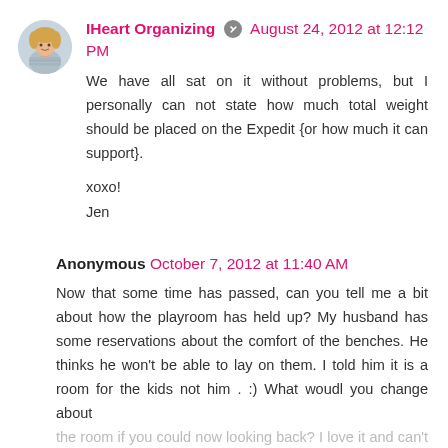[Figure (photo): Round avatar photo of a woman with blonde hair wearing a striped shirt]
IHeart Organizing [edit icon] August 24, 2012 at 12:12 PM
We have all sat on it without problems, but I personally can not state how much total weight should be placed on the Expedit {or how much it can support}.
xoxo!
Jen
Anonymous October 7, 2012 at 11:40 AM
Now that some time has passed, can you tell me a bit about how the playroom has held up? My husband has some reservations about the comfort of the benches. He thinks he won't be able to lay on them. I told him it is a room for the kids not him . :) What woudl you change about the room if you could now looking back? I love it and can't wait to start painting!